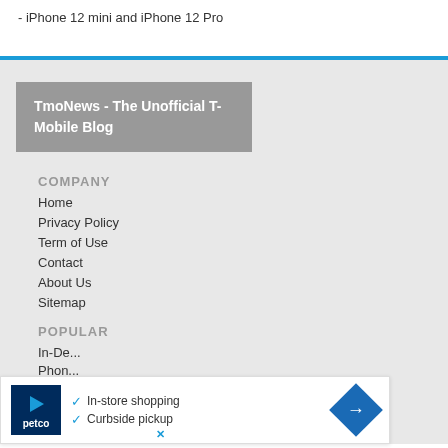iPhone 12 mini and iPhone 12 Pro
TmoNews - The Unofficial T-Mobile Blog
COMPANY
Home
Privacy Policy
Term of Use
Contact
About Us
Sitemap
POPULAR
In-De...
Phon...
[Figure (other): Advertisement banner for Petco showing in-store shopping and curbside pickup options with a navigation arrow icon]